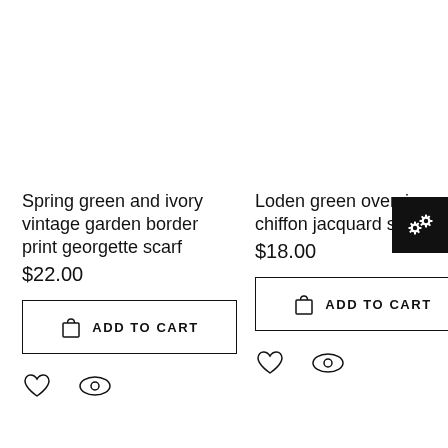Spring green and ivory vintage garden border print georgette scarf $22.00
Loden green oversize chiffon jacquard scarf $18.00